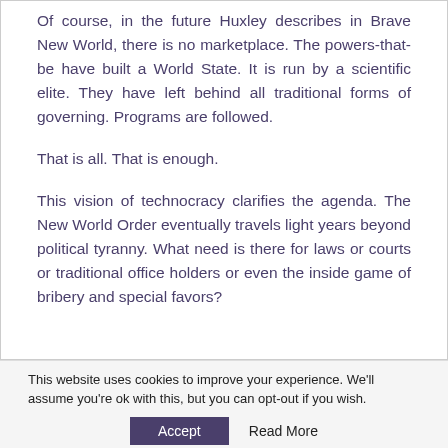Of course, in the future Huxley describes in Brave New World, there is no marketplace. The powers-that-be have built a World State. It is run by a scientific elite. They have left behind all traditional forms of governing. Programs are followed.
That is all. That is enough.
This vision of technocracy clarifies the agenda. The New World Order eventually travels light years beyond political tyranny. What need is there for laws or courts or traditional office holders or even the inside game of bribery and special favors?
This website uses cookies to improve your experience. We'll assume you're ok with this, but you can opt-out if you wish.